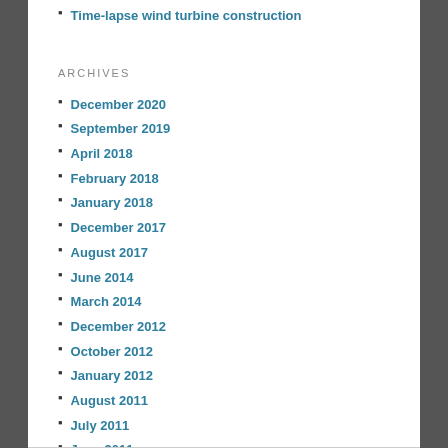Time-lapse wind turbine construction
ARCHIVES
December 2020
September 2019
April 2018
February 2018
January 2018
December 2017
August 2017
June 2014
March 2014
December 2012
October 2012
January 2012
August 2011
July 2011
June 2011
May 2011